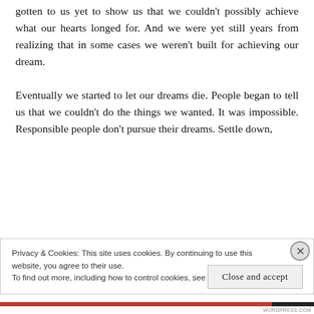gotten to us yet to show us that we couldn't possibly achieve what our hearts longed for. And we were yet still years from realizing that in some cases we weren't built for achieving our dream.

Eventually we started to let our dreams die. People began to tell us that we couldn't do the things we wanted. It was impossible. Responsible people don't pursue their dreams. Settle down,
Privacy & Cookies: This site uses cookies. By continuing to use this website, you agree to their use.
To find out more, including how to control cookies, see here: Cookie Policy